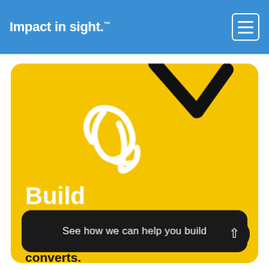Impact in sight.™
[Figure (illustration): Decorative handwritten-style cursive letters and a checkmark/arrow graphic on a yellow background]
Build
Grow your digital presence, create experiences. Produce content that converts.
See how we can help you build